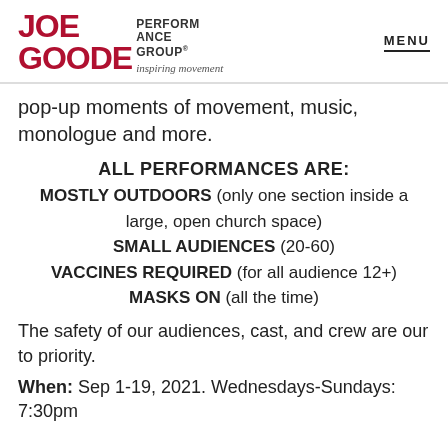JOE GOODE PERFORMANCE GROUP® inspiring movement | MENU
pop-up moments of movement, music, monologue and more.
ALL PERFORMANCES ARE:
MOSTLY OUTDOORS (only one section inside a large, open church space)
SMALL AUDIENCES (20-60)
VACCINES REQUIRED (for all audience 12+)
MASKS ON (all the time)
The safety of our audiences, cast, and crew are our to priority.
When: Sep 1-19, 2021. Wednesdays-Sundays: 7:30pm